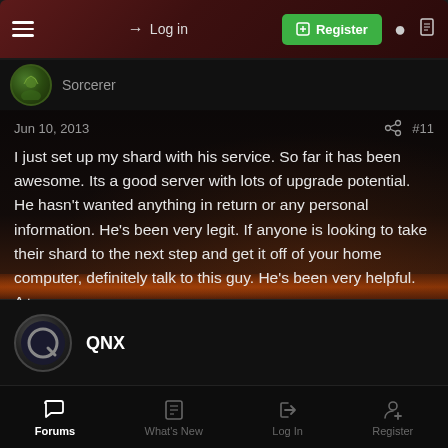Log in | Register
Sorcerer
Jun 10, 2013  #11
I just set up my shard with his service. So far it has been awesome. Its a good server with lots of upgrade potential. He hasn't wanted anything in return or any personal information. He's been very legit. If anyone is looking to take their shard to the next step and get it off of your home computer, definitely talk to this guy. He's been very helpful. A+
QNX
QNX
Forums  What's New  Log In  Register